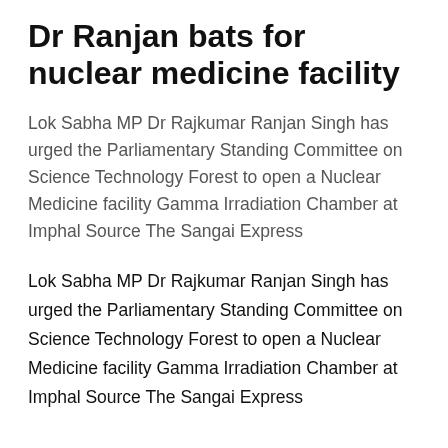Dr Ranjan bats for nuclear medicine facility
Lok Sabha MP Dr Rajkumar Ranjan Singh has urged the Parliamentary Standing Committee on Science Technology Forest to open a Nuclear Medicine facility Gamma Irradiation Chamber at Imphal Source The Sangai Express
Lok Sabha MP Dr Rajkumar Ranjan Singh has urged the Parliamentary Standing Committee on Science Technology Forest to open a Nuclear Medicine facility Gamma Irradiation Chamber at Imphal Source The Sangai Express